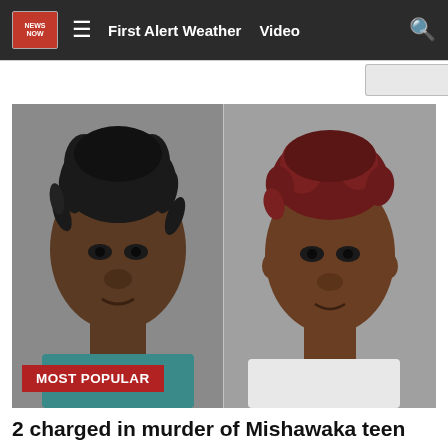First Alert Weather   Video
[Figure (photo): Two mugshot photos side by side. Left: young Black male with dreadlocks. Right: young Black female with reddish hair, wearing white shirt.]
MOST POPULAR
2 charged in murder of Mishawaka teen
16 News Now